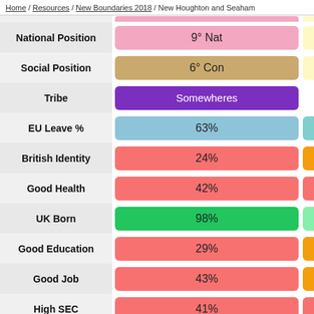Home / Resources / New Boundaries 2018 / New Houghton and Seaham
|  | Value |  |
| --- | --- | --- |
| National Position | 9° Nat |  |
| Social Position | 6° Con |  |
| Tribe | Somewheres |  |
| EU Leave % | 63% |  |
| British Identity | 24% |  |
| Good Health | 42% |  |
| UK Born | 98% |  |
| Good Education | 29% |  |
| Good Job | 43% |  |
| High SEC | 41% |  |